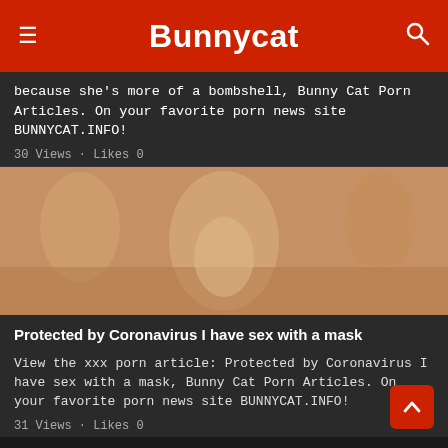Bunnycat
because she's more of a bombshell, Bunny Cat Porn Articles. On your favorite porn news site BUNNYCAT.INFO!
30 Views · Likes 0
[Figure (photo): Explicit adult content photograph]
Protected by Coronavirus I have sex with a mask
View the xxx porn article: Protected by Coronavirus I have sex with a mask, Bunny Cat Porn Articles. On your favorite porn news site BUNNYCAT.INFO!
31 Views · Likes 0